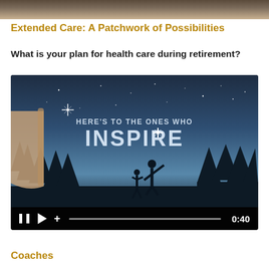[Figure (photo): Top decorative image bar showing a blurred background scene]
Extended Care: A Patchwork of Possibilities
What is your plan for health care during retirement?
[Figure (screenshot): Video player screenshot showing a tablet displaying an inspirational video with text 'HERE'S TO THE ONES WHO INSPIRE' over a nighttime forest silhouette scene with two figures. Video controls show pause, play, plus buttons, a progress bar, and timestamp 0:40.]
Coaches